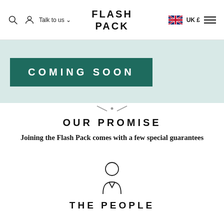Flash Pack — Talk to us — UK £
[Figure (screenshot): Coming Soon banner with teal/mint background containing a dark green rectangle with white uppercase text COMING SOON]
[Figure (illustration): Chevron/arrow navigation dots below the banner]
OUR PROMISE
Joining the Flash Pack comes with a few special guarantees
[Figure (illustration): Outline icon of a person (head and shoulders)]
THE PEOPLE